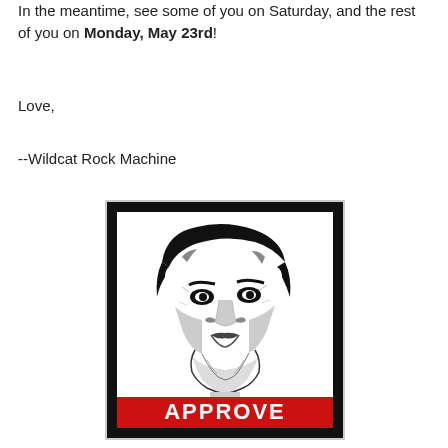In the meantime, see some of you on Saturday, and the rest of you on Monday, May 23rd!
Love,
--Wildcat Rock Machine
[Figure (illustration): A stylized black-and-white OBEY-style poster of an older bearded man's face with a red banner at the bottom reading 'APPROVE']